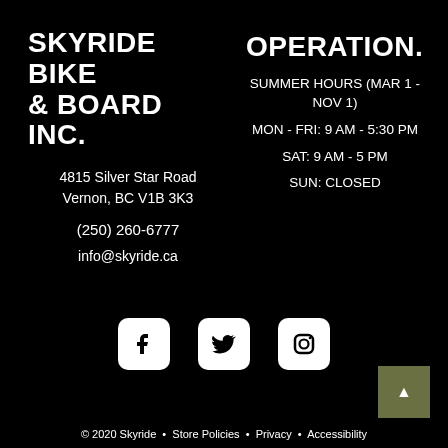SKYRIDE BIKE & BOARD INC.
4815 Silver Star Road
Vernon, BC V1B 3K3
(250) 260-6777
info@skyride.ca
OPERATION.
SUMMER HOURS (MAR 1 - NOV 1)
MON - FRI: 9 AM - 5:30 PM
SAT: 9 AM - 5 PM
SUN: CLOSED
[Figure (logo): Social media icons: Facebook, Twitter, Instagram]
© 2020 Skyride • Store Policies • Privacy • Accessibility